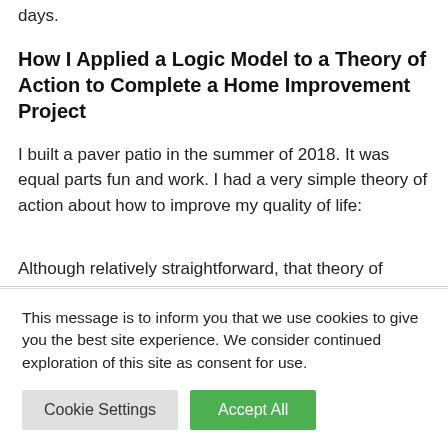days.
How I Applied a Logic Model to a Theory of Action to Complete a Home Improvement Project
I built a paver patio in the summer of 2018. It was equal parts fun and work. I had a very simple theory of action about how to improve my quality of life:
Although relatively straightforward, that theory of
This message is to inform you that we use cookies to give you the best site experience. We consider continued exploration of this site as consent for use.
Cookie Settings | Accept All